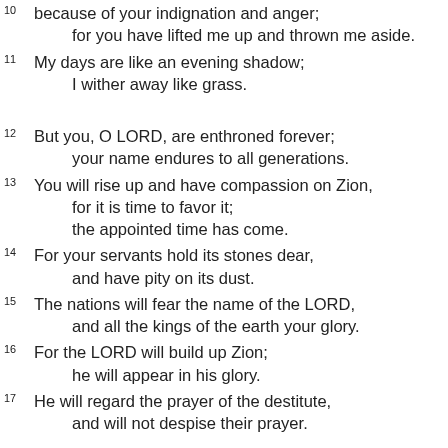10 because of your indignation and anger; for you have lifted me up and thrown me aside.
11 My days are like an evening shadow; I wither away like grass.
12 But you, O LORD, are enthroned forever; your name endures to all generations.
13 You will rise up and have compassion on Zion, for it is time to favor it; the appointed time has come.
14 For your servants hold its stones dear, and have pity on its dust.
15 The nations will fear the name of the LORD, and all the kings of the earth your glory.
16 For the LORD will build up Zion; he will appear in his glory.
17 He will regard the prayer of the destitute, and will not despise their prayer.